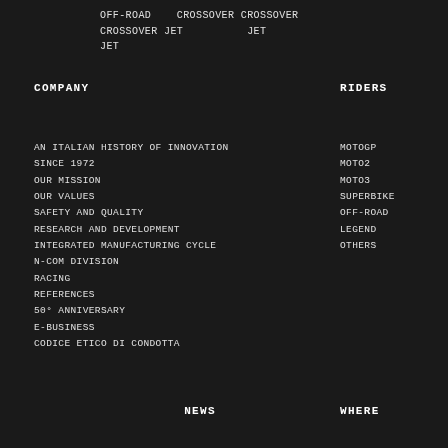OFF-ROAD   CROSSOVER CROSSOVER
CROSSOVER JET         JET
JET
COMPANY
RIDERS
AN ITALIAN HISTORY OF INNOVATION SINCE 1972
OUR MISSION
OUR VALUES
SAFETY AND QUALITY
RESEARCH AND DEVELOPMENT
INTEGRATED MANUFACTURING CYCLE
N-COM DIVISION
RACING
REFERENCES
50° ANNIVERSARY
E-BUSINESS
CODICE ETICO DI CONDOTTA
MOTOGP
MOTO2
MOTO3
SUPERBIKE
OFF-ROAD
LEGEND
OTHERS
NEWS
WHERE